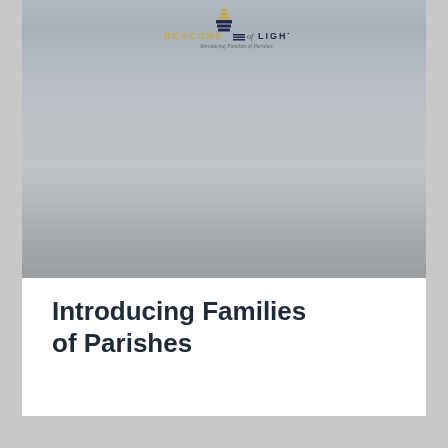[Figure (logo): Beacons of Light logo with stacked books/beacon graphic, text 'BEACONS of LIGHT' and subtitle 'Introducing Families of Parishes' on a grey gradient background]
Introducing Families of Parishes
July 8, 2022